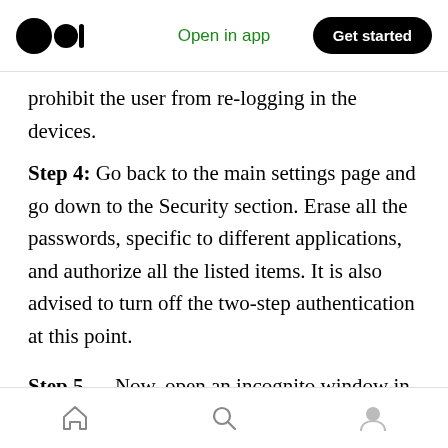Medium logo | Open in app | Get started
prohibit the user from re-logging in the devices.
Step 4: Go back to the main settings page and go down to the Security section. Erase all the passwords, specific to different applications, and authorize all the listed items. It is also advised to turn off the two-step authentication at this point.
Step 5 — Now, open an incognito window in your Chrome browser and go to My Google Account. Login the user account, go to settings, and delete any recovery phone or email addresses including
Home | Search | Profile